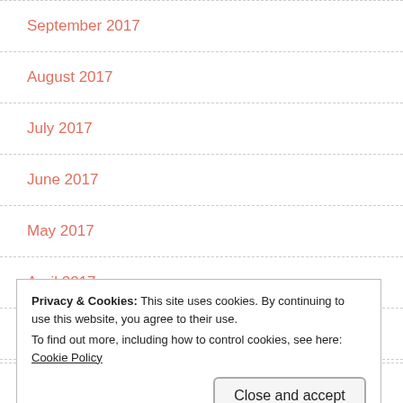September 2017
August 2017
July 2017
June 2017
May 2017
April 2017
March 2017
Privacy & Cookies: This site uses cookies. By continuing to use this website, you agree to their use.
To find out more, including how to control cookies, see here: Cookie Policy
December 2016